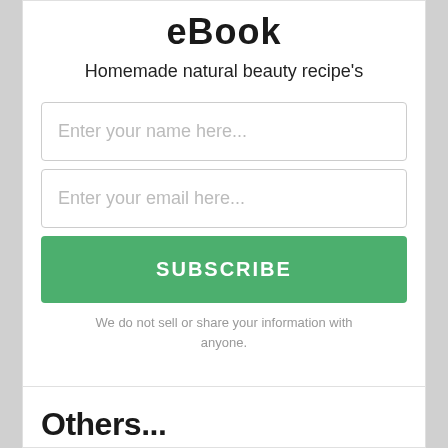eBook
Homemade natural beauty recipe's
Enter your name here...
Enter your email here...
SUBSCRIBE
We do not sell or share your information with anyone.
[Figure (logo): optinmonster logo button on grey rounded rectangle background]
Others...